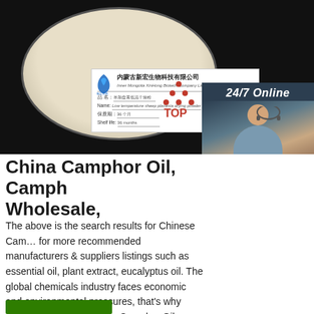[Figure (photo): Product photo of powder in a petri dish on black background, with a white label card from Inner Mongolia XinHong Biotech Company Limited showing Chinese product name, English name 'Low temperature sheep placenta drying powder', shelf life 36 months. Overlaid with a 24/7 Online chat widget showing a female customer service representative, a 'Click here for free chat!' button, and an orange QUOTATION button. A red TOP logo is partially visible at lower right.]
China Camphor Oil, Camph… Wholesale,
The above is the search results for Chinese Cam… for more recommended manufacturers & suppliers listings such as essential oil, plant extract, eucalyptus oil. The global chemicals industry faces economic and environmental pressures, that's why many of our suppliers like Camphor Oil factory are always innovating to provide more ...